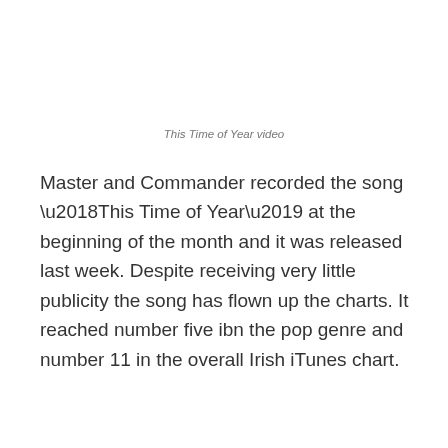This Time of Year video
Master and Commander recorded the song ‘This Time of Year’ at the beginning of the month and it was released last week. Despite receiving very little publicity the song has flown up the charts. It reached number five ibn the pop genre and number 11 in the overall Irish iTunes chart.